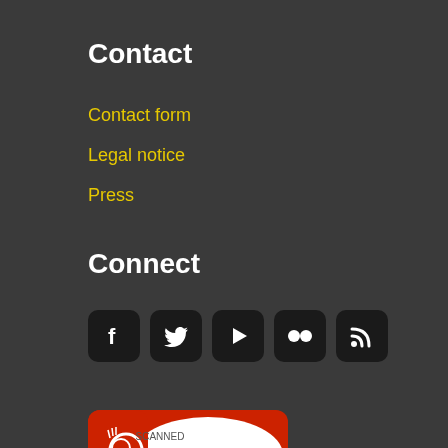Contact
Contact form
Legal notice
Press
Connect
[Figure (other): Five social media icon buttons: Facebook, Twitter, YouTube play button, Flickr, RSS feed]
[Figure (logo): SIWECOS SCANNED VERIFIED badge - red and white oval logo with magnifying glass icon]